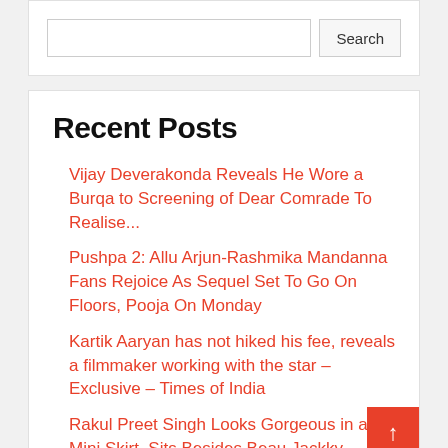Search (input + button)
Recent Posts
Vijay Deverakonda Reveals He Wore a Burqa to Screening of Dear Comrade To Realise...
Pushpa 2: Allu Arjun-Rashmika Mandanna Fans Rejoice As Sequel Set To Go On Floors, Pooja On Monday
Kartik Aaryan has not hiked his fee, reveals a filmmaker working with the star – Exclusive – Times of India
Rakul Preet Singh Looks Gorgeous in a Mini Skirt, Sits Besides Beau Jackky Bagnani at Cuttputlli Ev
Ranveer Singh's nude photoshoot row: Actor seeks